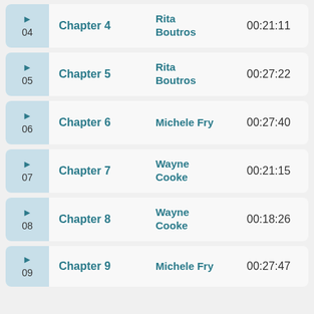04 Chapter 4 Rita Boutros 00:21:11
05 Chapter 5 Rita Boutros 00:27:22
06 Chapter 6 Michele Fry 00:27:40
07 Chapter 7 Wayne Cooke 00:21:15
08 Chapter 8 Wayne Cooke 00:18:26
09 Chapter 9 Michele Fry 00:27:47